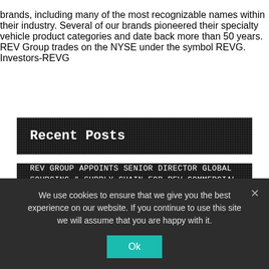brands, including many of the most recognizable names within their industry. Several of our brands pioneered their specialty vehicle product categories and date back more than 50 years. REV Group trades on the NYSE under the symbol REVG. Investors-REVG
Recent Posts
REV GROUP APPOINTS SENIOR DIRECTOR GLOBAL SOURCING & SUPPLY CHAIN FOR REV COMMERCIAL SEGMENT
TORONTO FIRE SERVICES ORDERS TWO FULLY ELECTRIC VECTOR™ PUMPERS
REV GROUP NAMES MIKE ALBERS AS VICE
We use cookies to ensure that we give you the best experience on our website. If you continue to use this site we will assume that you are happy with it.